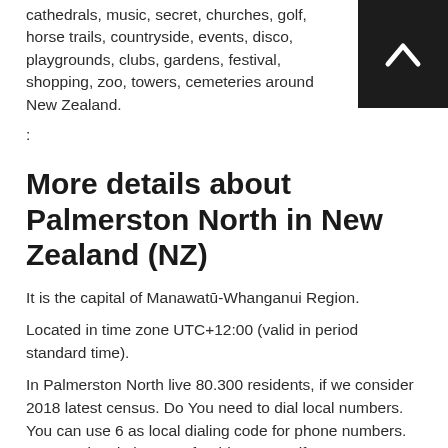cathedrals, music, secret, churches, golf, horse trails, countryside, events, disco, playgrounds, clubs, gardens, festival, shopping, zoo, towers, cemeteries around New Zealand.
:
More details about Palmerston North in New Zealand (NZ)
It is the capital of Manawatū-Whanganui Region.
Located in time zone UTC+12:00 (valid in period standard time).
In Palmerston North live 80.300 residents, if we consider 2018 latest census. Do You need to dial local numbers. You can use 6 as local dialing code for phone numbers. It's postal code is 4410, for this reason, if you want to send anything via post on your tripthis can be done by using the zip as described.